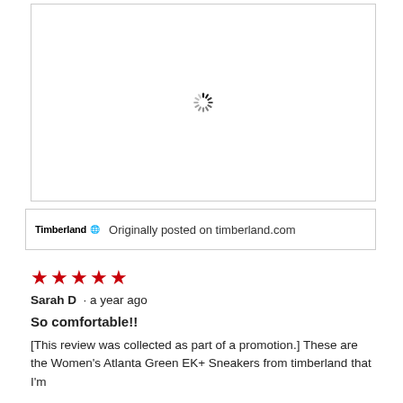[Figure (other): Loading spinner icon centered in a white bordered image placeholder area]
Timberland ® Originally posted on timberland.com
[Figure (other): Five red stars (5-star rating)]
Sarah D · a year ago
So comfortable!!
[This review was collected as part of a promotion.] These are the Women's Atlanta Green EK+ Sneakers from timberland that I'm